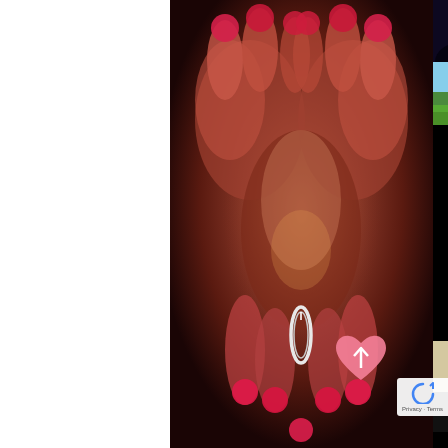[Figure (photo): Close-up photo of two hands with red/pink painted nails holding a wedding ring, blurred warm-toned background]
[Figure (photo): Wedding couple silhouetted against bright lights at night]
[Figure (photo): Aerial or landscape view of a green venue/estate with trees and lawn]
Unique, Unequalled & Unforgettable
WEDDINGS, RECEPTIONS & MORE
LEARN MORE